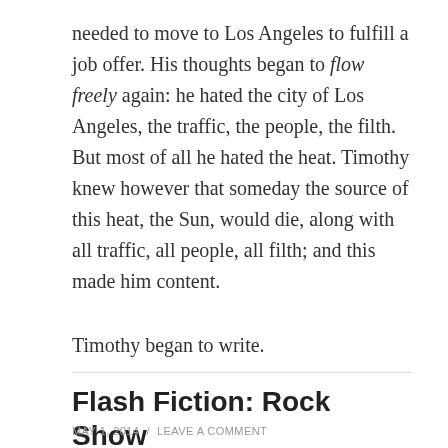needed to move to Los Angeles to fulfill a job offer. His thoughts began to flow freely again: he hated the city of Los Angeles, the traffic, the people, the filth. But most of all he hated the heat. Timothy knew however that someday the source of this heat, the Sun, would die, along with all traffic, all people, all filth; and this made him content.
Timothy began to write.
Flash Fiction: Rock Show
MAY 1, 2014  /  LEAVE A COMMENT